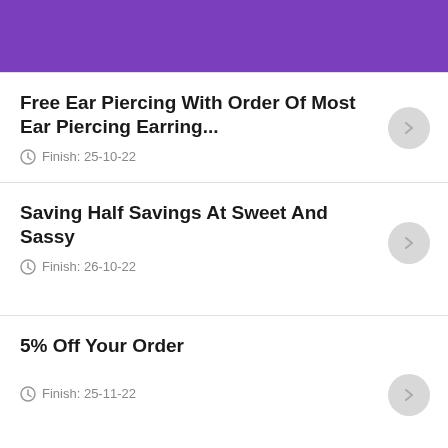Free Ear Piercing With Order Of Most Ear Piercing Earring... Finish: 25-10-22
Saving Half Savings At Sweet And Sassy Finish: 26-10-22
5% Off Your Order Finish: 25-11-22